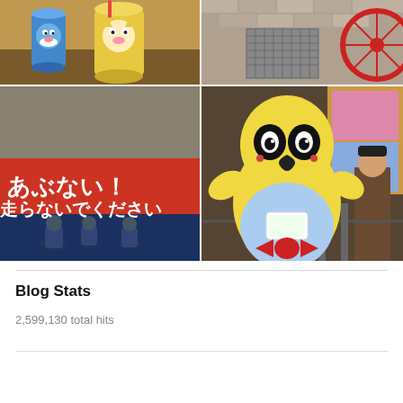[Figure (photo): McDonald's cups with Doraemon and anime character designs on a table]
[Figure (photo): Red bicycles parked on a brick sidewalk, viewed from above]
[Figure (photo): Japanese escalator warning sign reading あぶない！エスカレーター内は走らないでください (Danger! Do not run inside the escalator) on red banner with people below]
[Figure (photo): Yellow mascot character costume (yuru-chara) waving at an event, with a person in background]
Blog Stats
2,599,130 total hits